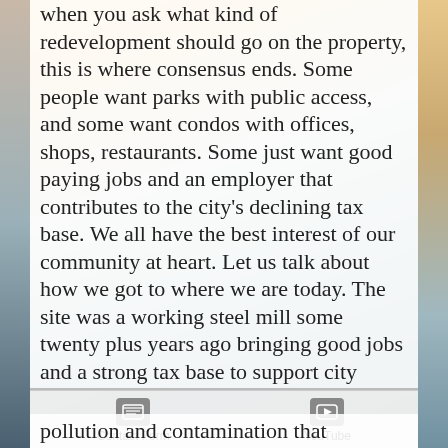when you ask what kind of redevelopment should go on the property, this is where consensus ends. Some people want parks with public access, and some want condos with offices, shops, restaurants. Some just want good paying jobs and an employer that contributes to the city's declining tax base. We all have the best interest of our community at heart. Let us talk about how we got to where we are today. The site was a working steel mill some twenty plus years ago bringing good jobs and a strong tax base to support city services and a well-regarded school
Contact Form   YouTube
pollution and contamination that